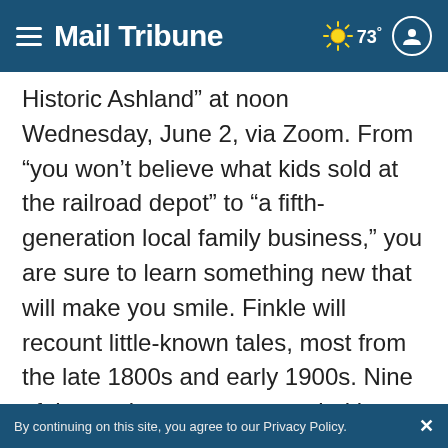Mail Tribune | 73°
Historic Ashland” at noon Wednesday, June 2, via Zoom. From “you won’t believe what kids sold at the railroad depot” to “a fifth-generation local family business,” you are sure to learn something new that will make you smile. Finkle will recount little-known tales, most from the late 1800s and early 1900s. Nine of the stories are accompanied by historical photos. Admission is free; registration is required. To register, see jcls.libcal.com/calendar/jcls_event/WIT-June-
By continuing on this site, you agree to our Privacy Policy.